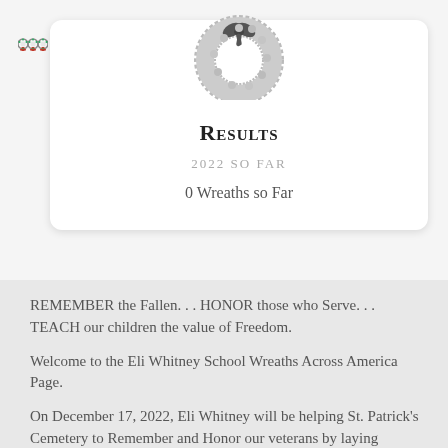[Figure (illustration): Decorative wreath icon in grayscale at top center of card]
Results
2022 SO FAR
0 Wreaths so Far
REMEMBER the Fallen. . . HONOR those who Serve. . . TEACH our children the value of Freedom.
Welcome to the Eli Whitney School Wreaths Across America Page.
On December 17, 2022, Eli Whitney will be helping St. Patrick's Cemetery to Remember and Honor our veterans by laying Remembrance